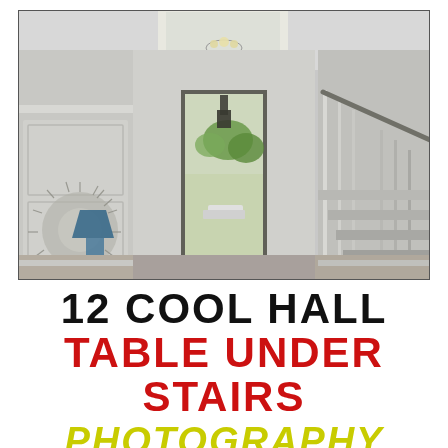[Figure (photo): Interior hallway/foyer of an elegant home showing a long corridor with white wainscoting walls, a staircase with white spindles and dark handrail on the right, an ornate sunburst mirror and blue table lamp on the left, a chandelier hanging from above, and an open front door at the end revealing a view outside with green trees and a car in a driveway.]
12 COOL HALL TABLE UNDER STAIRS PHOTOGRAPHY